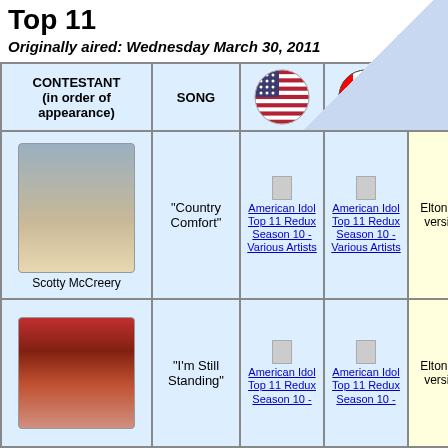Top 11
Originally aired: Wednesday March 30, 2011
| CONTESTANT (in order of appearance) | SONG | US flag | Canada flag | ORIG ART |
| --- | --- | --- | --- | --- |
| Scotty McCreery | "Country Comfort" | American Idol Top 11 Redux Season 10 - Various Artists | American Idol Top 11 Redux Season 10 - Various Artists | Elton J... version |
| (woman) | "I'm Still Standing" | American Idol Top 11 Redux Season 10 - Various Artists | American Idol Top 11 Redux Season 10 - | Elton J... version |